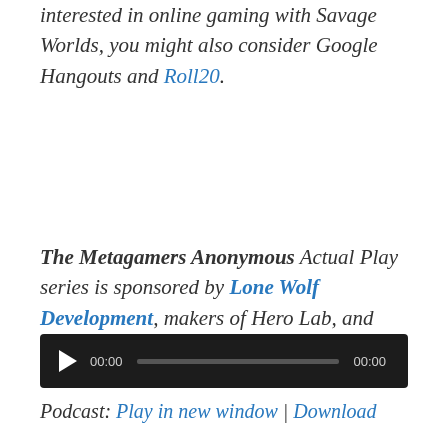interested in online gaming with Savage Worlds, you might also consider Google Hangouts and Roll20.
The Metagamers Anonymous Actual Play series is sponsored by Lone Wolf Development, makers of Hero Lab, and Plate Mail Games!
[Figure (other): Audio player widget with play button, time display 00:00, progress bar, and end time 00:00 on dark background]
Podcast: Play in new window | Download